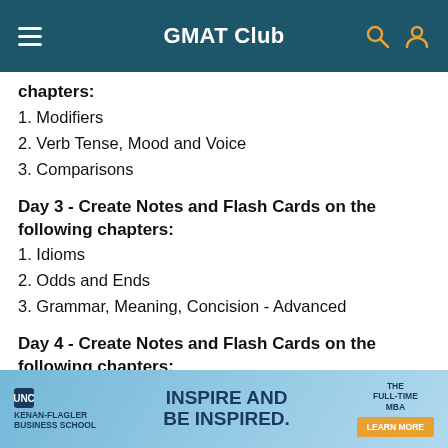GMAT Club
chapters:
1. Modifiers
2. Verb Tense, Mood and Voice
3. Comparisons
Day 3 - Create Notes and Flash Cards on the following chapters:
1. Idioms
2. Odds and Ends
3. Grammar, Meaning, Concision - Advanced
Day 4 - Create Notes and Flash Cards on the following chapters:
1. Pronouns and Modifiers - Advanced
[Figure (infographic): UNC Kenan-Flagler Business School advertisement banner with text 'INSPIRE AND BE INSPIRED. THE FULL-TIME MBA' and a 'LEARN MORE' button]